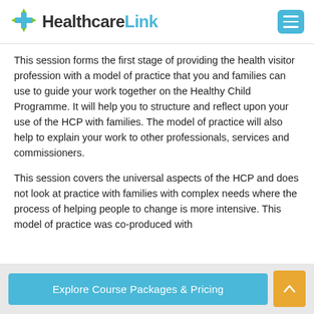HealthcareLink
This session forms the first stage of providing the health visitor profession with a model of practice that you and families can use to guide your work together on the Healthy Child Programme. It will help you to structure and reflect upon your use of the HCP with families. The model of practice will also help to explain your work to other professionals, services and commissioners.
This session covers the universal aspects of the HCP and does not look at practice with families with complex needs where the process of helping people to change is more intensive. This model of practice was co-produced with
Explore Course Packages & Pricing